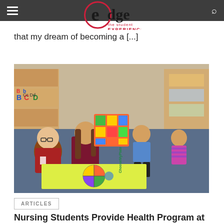edge the student EXPERIENCE
that my dream of becoming a [...]
[Figure (photo): Nursing students sitting on classroom floor with young children, showing a colorful puzzle board and a MyPlate nutrition poster. Alphabet letters visible on wall shelves in background.]
ARTICLES
Nursing Students Provide Health Program at St.